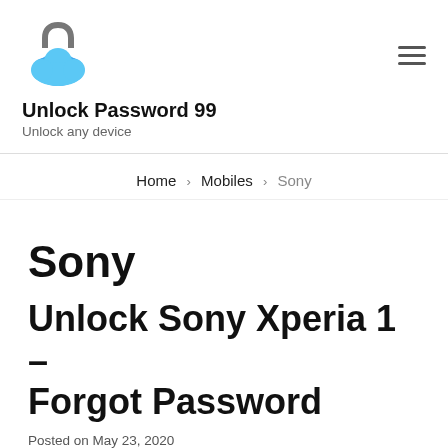[Figure (logo): Blue cloud with dark lock/handle on top, site logo for Unlock Password 99]
Unlock Password 99
Unlock any device
Home › Mobiles › Sony
Sony
Unlock Sony Xperia 1 – Forgot Password
Posted on May 23, 2020